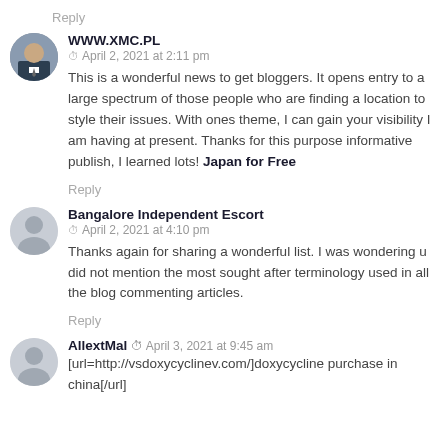Reply
WWW.XMC.PL · April 2, 2021 at 2:11 pm
This is a wonderful news to get bloggers. It opens entry to a large spectrum of those people who are finding a location to style their issues. With ones theme, I can gain your visibility I am having at present. Thanks for this purpose informative publish, I learned lots! Japan for Free
Reply
Bangalore Independent Escort · April 2, 2021 at 4:10 pm
Thanks again for sharing a wonderful list. I was wondering u did not mention the most sought after terminology used in all the blog commenting articles.
Reply
AllextMal · April 3, 2021 at 9:45 am
[url=http://vsdoxycyclinev.com/]doxycycline purchase in china[/url]